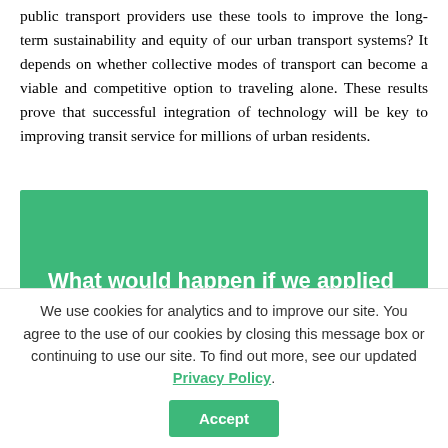public transport providers use these tools to improve the long-term sustainability and equity of our urban transport systems? It depends on whether collective modes of transport can become a viable and competitive option to traveling alone. These results prove that successful integration of technology will be key to improving transit service for millions of urban residents.
[Figure (other): Green banner box with white bold text reading 'What would happen if we applied a similar strategy to the 300,000+ public transport...']
We use cookies for analytics and to improve our site. You agree to the use of our cookies by closing this message box or continuing to use our site. To find out more, see our updated Privacy Policy.